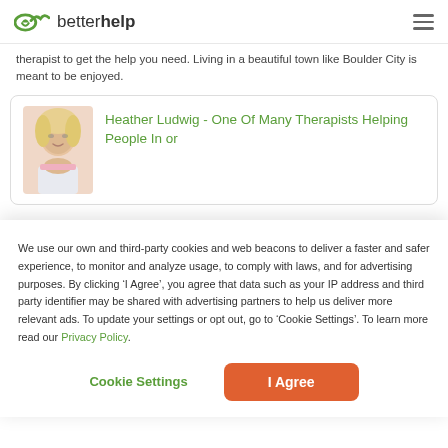betterhelp
therapist to get the help you need. Living in a beautiful town like Boulder City is meant to be enjoyed.
[Figure (photo): Therapist profile photo of Heather Ludwig, a woman with blonde hair]
Heather Ludwig - One Of Many Therapists Helping People In or
We use our own and third-party cookies and web beacons to deliver a faster and safer experience, to monitor and analyze usage, to comply with laws, and for advertising purposes. By clicking ‘I Agree’, you agree that data such as your IP address and third party identifier may be shared with advertising partners to help us deliver more relevant ads. To update your settings or opt out, go to ‘Cookie Settings’. To learn more read our Privacy Policy.
Cookie Settings
I Agree